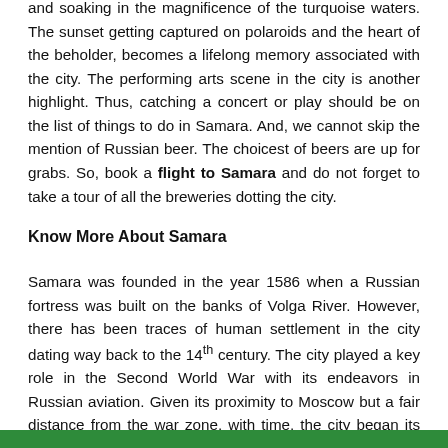and soaking in the magnificence of the turquoise waters. The sunset getting captured on polaroids and the heart of the beholder, becomes a lifelong memory associated with the city. The performing arts scene in the city is another highlight. Thus, catching a concert or play should be on the list of things to do in Samara. And, we cannot skip the mention of Russian beer. The choicest of beers are up for grabs. So, book a flight to Samara and do not forget to take a tour of all the breweries dotting the city.
Know More About Samara
Samara was founded in the year 1586 when a Russian fortress was built on the banks of Volga River. However, there has been traces of human settlement in the city dating way back to the 14th century. The city played a key role in the Second World War with its endeavors in Russian aviation. Given its proximity to Moscow but a fair distance from the war zone, with time, the city began its journey towards development. Though, one can still see vestiges of the war quite clearly in the city's being, it's not suffering from its wounds anymore. Today, it embraces a very lively vibe that reflects in the numerous restaurants, clubs, festivals, events and jovial locals that make up the spirit of Samara. The city is rooted deep in its culture which has attracted many eminent artists to